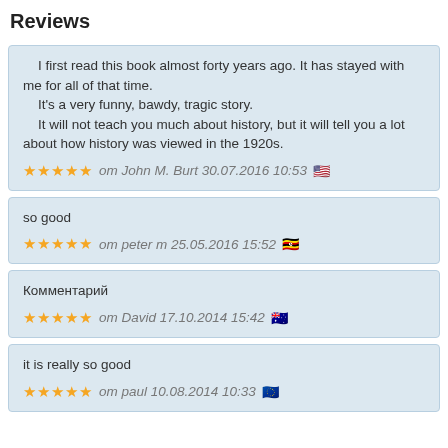Reviews
I first read this book almost forty years ago. It has stayed with me for all of that time.
    It's a very funny, bawdy, tragic story.
    It will not teach you much about history, but it will tell you a lot about how history was viewed in the 1920s.
om John M. Burt 30.07.2016 10:53
so good
om peter m 25.05.2016 15:52
Комментарий
om David 17.10.2014 15:42
it is really so good
om paul 10.08.2014 10:33